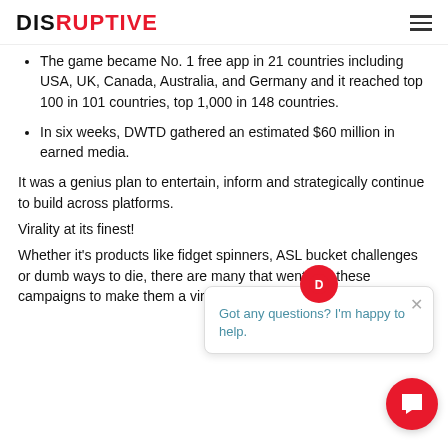DISRUPTIVE
The game became No. 1 free app in 21 countries including USA, UK, Canada, Australia, and Germany and it reached top 100 in 101 countries, top 1,000 in 148 countries.
In six weeks, DWTD gathered an estimated $60 million in earned media.
It was a genius plan to entertain, inform and strategically continue to [spread across] platforms.
Virality at its finest!
Whether it's products like fidget spinners, ASL bucket challenges or dumb ways to die, there are many [elements] that went into these campaigns to make them a [viral] success.